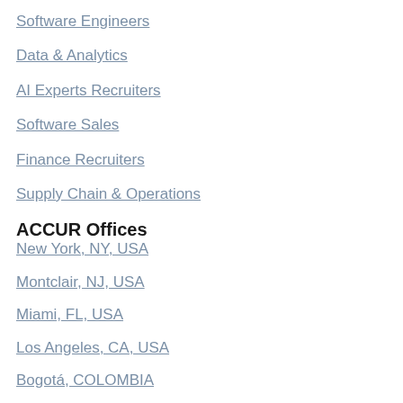Software Engineers
Data & Analytics
AI Experts Recruiters
Software Sales
Finance Recruiters
Supply Chain & Operations
ACCUR Offices
New York, NY, USA
Montclair, NJ, USA
Miami, FL, USA
Los Angeles, CA, USA
Bogotá, COLOMBIA